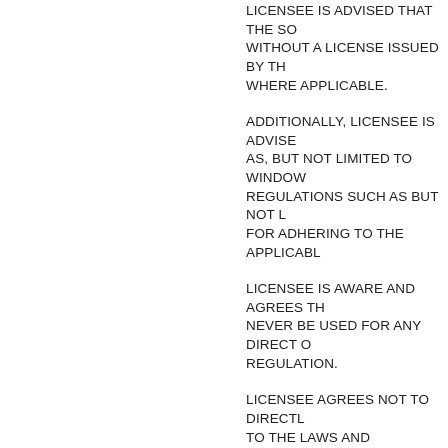LICENSEE IS ADVISED THAT THE SO WITHOUT A LICENSE ISSUED BY TH WHERE APPLICABLE.
ADDITIONALLY, LICENSEE IS ADVISE AS, BUT NOT LIMITED TO WINDOW REGULATIONS SUCH AS BUT NOT L FOR ADHERING TO THE APPLICABL
LICENSEE IS AWARE AND AGREES TH NEVER BE USED FOR ANY DIRECT O REGULATION.
LICENSEE AGREES NOT TO DIRECTL TO THE LAWS AND REGULATIONS O THAT HAS JURISDICTION OR AUTHO EXPORTED, TRANSMITTED OR USED
LICENSEE HEREBY REPRESENTS THA SOFTWARE UNDER APPLICABLE LAW
IF LICENSEE MOVES ANY SOFTWAR (INCLUDING WITHHOLDING TAXES THEN LICENSEE IS SOLELY LIABLE F FOR, AND WILL PAY, ANY SUCH DUT